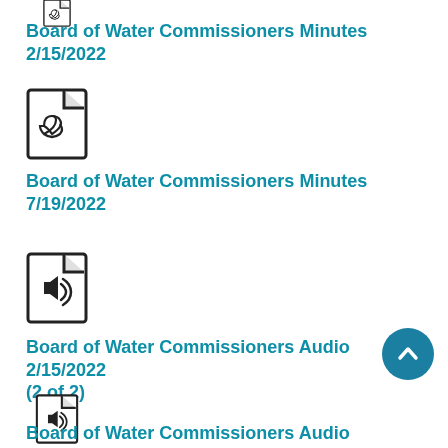[Figure (other): PDF file icon (partially visible at top)]
Board of Water Commissioners Minutes 2/15/2022
[Figure (other): PDF file icon]
Board of Water Commissioners Minutes 7/19/2022
[Figure (other): Audio file icon]
Board of Water Commissioners Audio 2/15/2022 (2 of 2)
[Figure (other): Audio file icon]
Board of Water Commissioners Audio 7/19
[Figure (other): Audio file icon (partially visible at bottom)]